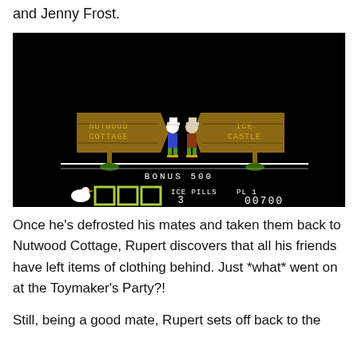and Jenny Frost.
[Figure (screenshot): Retro video game screenshot showing two characters standing between two wooden signposts reading 'NUTWOOD COTTAGE' and 'ICE CASTLE' on a black background. HUD shows BONUS 500, three empty item boxes, ICE PILLS 3, PL 1, score 00700.]
Once he's defrosted his mates and taken them back to Nutwood Cottage, Rupert discovers that all his friends have left items of clothing behind. Just *what* went on at the Toymaker's Party?!
Still, being a good mate, Rupert sets off back to the